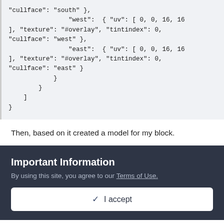"cullface": "south" },
                    "west":  { "uv": [ 0, 0, 16, 16 ], "texture": "#overlay", "tintindex": 0, "cullface": "west" },
                    "east":  { "uv": [ 0, 0, 16, 16 ], "texture": "#overlay", "tintindex": 0, "cullface": "east" }
                }
            }
        ]
    }
}
Then, based on it created a model for my block.
Important Information
By using this site, you agree to our Terms of Use.
✓ I accept